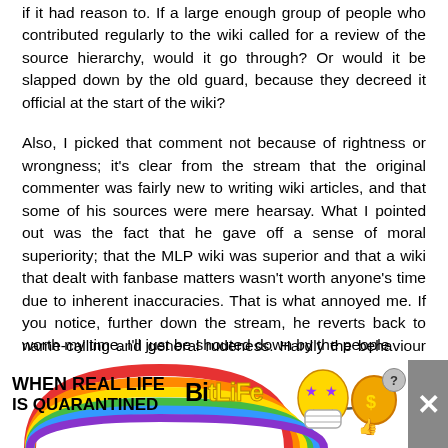if it had reason to. If a large enough group of people who contributed regularly to the wiki called for a review of the source hierarchy, would it go through? Or would it be slapped down by the old guard, because they decreed it official at the start of the wiki?
Also, I picked that comment not because of rightness or wrongness; it's clear from the stream that the original commenter was fairly new to writing wiki articles, and that some of his sources were mere hearsay. What I pointed out was the fact that he gave off a sense of moral superiority; that the MLP wiki was superior and that a wiki that dealt with fanbase matters wasn't worth anyone's time due to inherent inaccuracies. That is what annoyed me. If you notice, further down the stream, he reverts back to name-calling and general rudeness. Hardly the behaviour of a respected admin, now, is it?
Again, I think this is what drives people away from the wiki. I would like to contribute and have a say in how it's run, but the intimidation and insults I see in the comments have pretty much convinced me that it's not worth my time. I'll just be shouted down by the people
[Figure (other): Advertisement banner for BitLife mobile game. Shows rainbow arc design on left, 'WHEN REAL LIFE IS QUARANTINED' text, BitLife logo with star-eyes character and coin character, help/close buttons, and a large grey X close button on far right.]